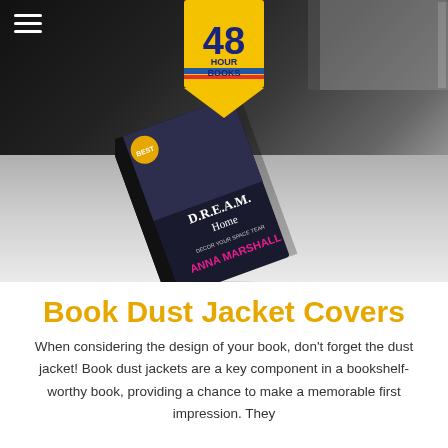[Figure (photo): Hero image with dark gray/black background showing book spines, a logo badge for '48 Hour Books' at top center, a hamburger menu icon at top left, and a featured book 'D.R.E.A.M. Home' by Anna Marshall shown at an angle over a lighter gray background area]
Book Dust Jacket Covers
When considering the design of your book, don't forget the dust jacket! Book dust jackets are a key component in a bookshelf-worthy book, providing a chance to make a memorable first impression. They